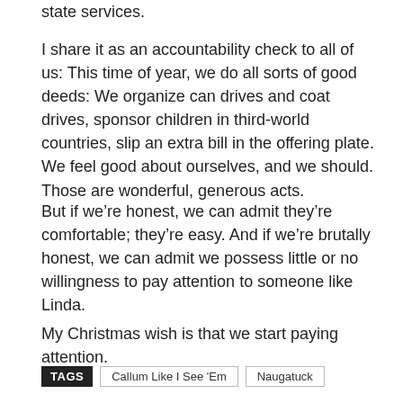state services.
I share it as an accountability check to all of us: This time of year, we do all sorts of good deeds: We organize can drives and coat drives, sponsor children in third-world countries, slip an extra bill in the offering plate. We feel good about ourselves, and we should. Those are wonderful, generous acts.
But if we’re honest, we can admit they’re comfortable; they’re easy. And if we’re brutally honest, we can admit we possess little or no willingness to pay attention to someone like Linda.
My Christmas wish is that we start paying attention.
TAGS   Callum Like I See ‘Em   Naugatuck